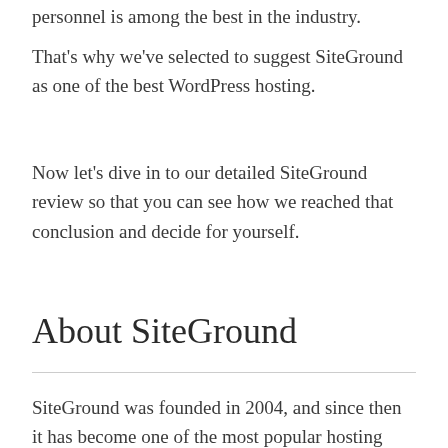personnel is among the best in the industry.
That's why we've selected to suggest SiteGround as one of the best WordPress hosting.
Now let's dive in to our detailed SiteGround review so that you can see how we reached that conclusion and decide for yourself.
About SiteGround
SiteGround was founded in 2004, and since then it has become one of the most popular hosting